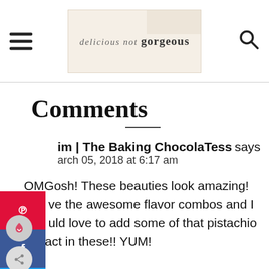delicious not gorgeous — blog header with logo and navigation
Comments
im | The Baking ChocolaTess says
March 05, 2018 at 6:17 am
OMGosh! These beauties look amazing! Love the awesome flavor combos and I would love to add some of that pistachio extract in these!! YUM!